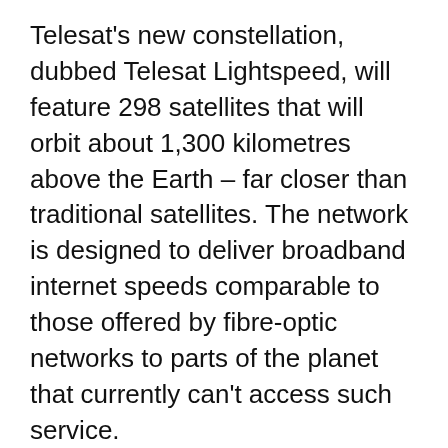Telesat's new constellation, dubbed Telesat Lightspeed, will feature 298 satellites that will orbit about 1,300 kilometres above the Earth – far closer than traditional satellites. The network is designed to deliver broadband internet speeds comparable to those offered by fibre-optic networks to parts of the planet that currently can't access such service.
Earlier this year, Telesat received $1.44 billion in federal funding and additional support from the Ontario and Quebec governments to help finance the constellation, which it hopes to start operating in 2024. But...